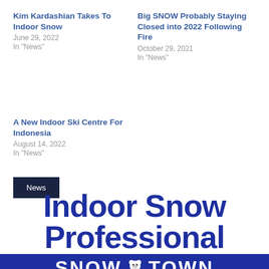Kim Kardashian Takes To Indoor Snow
June 29, 2022
In "News"
Big SNOW Probably Staying Closed into 2022 Following Fire
October 29, 2021
In "News"
A New Indoor Ski Centre For Indonesia
August 14, 2022
In "News"
News
[Figure (logo): Indoor Snow Professional logo with dark blue text and SNOW TOWN banner with bear mascot]